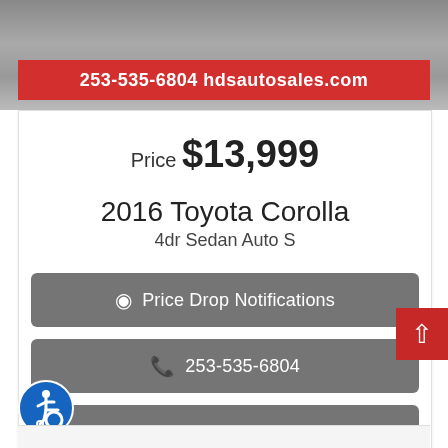[Figure (photo): Car photo area at top of page with gray concrete/asphalt background]
253-535-6804 hdsautosales.com
Price $13,999
2016 Toyota Corolla
4dr Sedan Auto S
Price Drop Notifications
253-535-6804
Inquiry